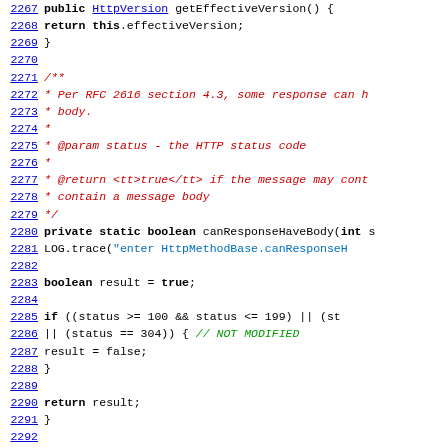Source code listing lines 2267-2296, Java method code with Javadoc comments